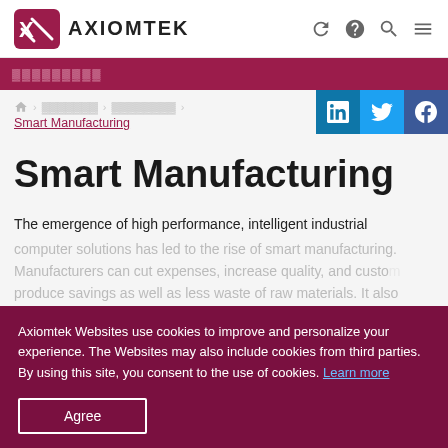AXIOMTEK
▓▓▓▓▓▓▓▓▓
🏠 > ▓▓▓▓▓▓▓ > ▓▓▓▓▓▓▓▓ > Smart Manufacturing
Smart Manufacturing
The emergence of high performance, intelligent industrial computer solutions has led to the rise of smart manufacturing. Manufacturers can cut expenses, increase quality, produce savings as well as less waste of raw materials. It also lessened the need for human labor due to the machines' ability
Axiomtek Websites use cookies to improve and personalize your experience. The Websites may also include cookies from third parties. By using this site, you consent to the use of cookies. Learn more